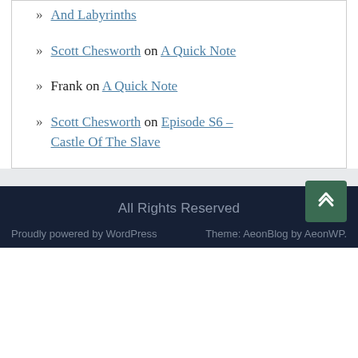And Labyrinths
Scott Chesworth on A Quick Note
Frank on A Quick Note
Scott Chesworth on Episode S6 – Castle Of The Slave
All Rights Reserved
Proudly powered by WordPress
Theme: AeonBlog by AeonWP.